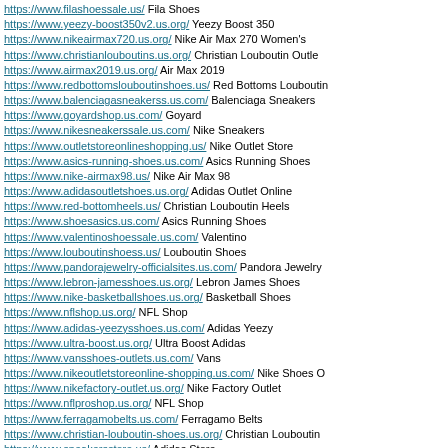https://www.filashoessale.us/ Fila Shoes
https://www.yeezy-boost350v2.us.org/ Yeezy Boost 350
https://www.nikeairmax720.us.org/ Nike Air Max 270 Women's
https://www.christianlouboutins.us.org/ Christian Louboutin Outle
https://www.airmax2019.us.org/ Air Max 2019
https://www.redbottomslouboutinshoes.us/ Red Bottoms Louboutin
https://www.balenciagasneakerss.us.com/ Balenciaga Sneakers
https://www.goyardshop.us.com/ Goyard
https://www.nikesneakerssale.us.com/ Nike Sneakers
https://www.outletstoreonlineshopping.us/ Nike Outlet Store
https://www.asics-running-shoes.us.com/ Asics Running Shoes
https://www.nike-airmax98.us/ Nike Air Max 98
https://www.adidasoutletshoes.us.org/ Adidas Outlet Online
https://www.red-bottomheels.us/ Christian Louboutin Heels
https://www.shoesasics.us.com/ Asics Running Shoes
https://www.valentinoshoessale.us.com/ Valentino
https://www.louboutinshoess.us/ Louboutin Shoes
https://www.pandorajewelry-officialsites.us.com/ Pandora Jewelry
https://www.lebron-jamesshoes.us.org/ Lebron James Shoes
https://www.nike-basketballshoes.us.org/ Basketball Shoes
https://www.nflshop.us.org/ NFL Shop
https://www.adidas-yeezysshoes.us.com/ Adidas Yeezy
https://www.ultra-boost.us.org/ Ultra Boost Adidas
https://www.vansshoes-outlets.us.com/ Vans
https://www.nikeoutletstoreonline-shopping.us.com/ Nike Shoes O
https://www.nikefactory-outlet.us.org/ Nike Factory Outlet
https://www.nflproshop.us.org/ NFL Shop
https://www.ferragamobelts.us.com/ Ferragamo Belts
https://www.christian-louboutin-shoes.us.org/ Christian Louboutin
https://www.sneakersstore.us/ Adidas Store
https://www.pandorashop.ca/ Pandora Charms
https://www.jewelrycharms.us/ Pandora Charms
https://www.asicsshoes.us.org/ Asics Gel Nimbus
https://www.yeezysboosts.us.com/ Yeezy Boost 750
https://www.nikeoutletonline-store.us.com/ Nike Outlet Store
https://www.shoesstore.org.uk/ Nike UK
https://www.nikeshoess.us.org/ Nike Shoes